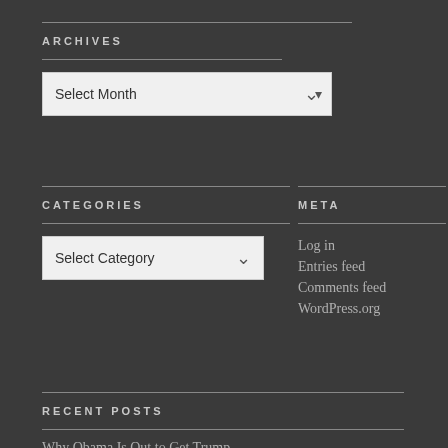ARCHIVES
[Figure (screenshot): A dropdown select box labeled 'Select Month' with a downward chevron arrow on a light background]
CATEGORIES
[Figure (screenshot): A dropdown select box labeled 'Select Category' with a downward chevron arrow on a light background]
META
Log in
Entries feed
Comments feed
WordPress.org
RECENT POSTS
Why Obama Is Out to Get Trump